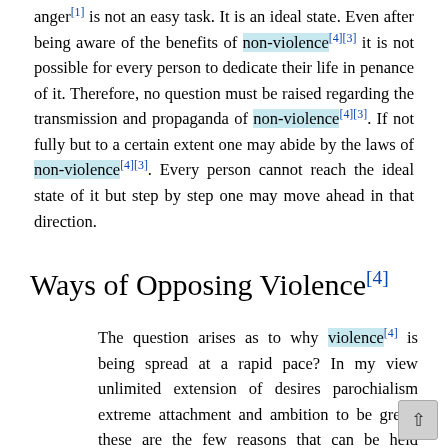anger[1] is not an easy task. It is an ideal state. Even after being aware of the benefits of non-violence[4][3] it is not possible for every person to dedicate their life in penance of it. Therefore, no question must be raised regarding the transmission and propaganda of non-violence[4][3]. If not fully but to a certain extent one may abide by the laws of non-violence[4][3]. Every person cannot reach the ideal state of it but step by step one may move ahead in that direction.
Ways of Opposing Violence[4]
The question arises as to why violence[4] is being spread at a rapid pace? In my view unlimited extension of desires parochialism extreme attachment and ambition to be great-these are the few reasons that can be held responsible for enhancement of violence[4] Controlling desires, non-parochial feelings considering everyone a relative and to seek one in